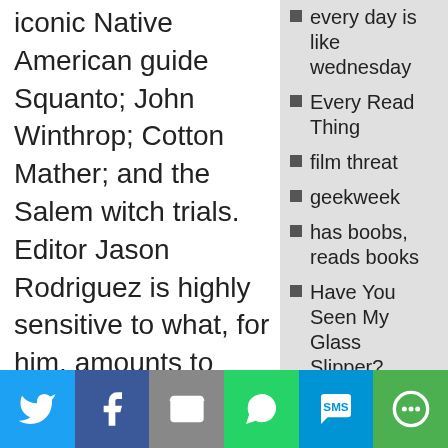iconic Native American guide Squanto; John Winthrop; Cotton Mather; and the Salem witch trials. Editor Jason Rodriguez is highly sensitive to what, for him, amounts to confronting a lot of New England factoids fed to him in
every day is like wednesday
Every Read Thing
film threat
geekweek
has boobs, reads books
Have You Seen My Glass Slipper?
idw blog
jennifer daydreamer